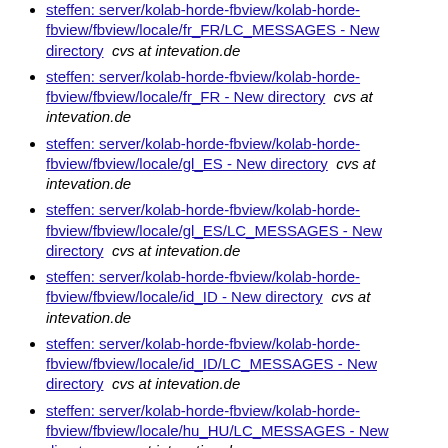steffen: server/kolab-horde-fbview/kolab-horde-fbview/fbview/locale/fr_FR/LC_MESSAGES - New directory  cvs at intevation.de
steffen: server/kolab-horde-fbview/kolab-horde-fbview/fbview/locale/fr_FR - New directory  cvs at intevation.de
steffen: server/kolab-horde-fbview/kolab-horde-fbview/fbview/locale/gl_ES - New directory  cvs at intevation.de
steffen: server/kolab-horde-fbview/kolab-horde-fbview/fbview/locale/gl_ES/LC_MESSAGES - New directory  cvs at intevation.de
steffen: server/kolab-horde-fbview/kolab-horde-fbview/fbview/locale/id_ID - New directory  cvs at intevation.de
steffen: server/kolab-horde-fbview/kolab-horde-fbview/fbview/locale/id_ID/LC_MESSAGES - New directory  cvs at intevation.de
steffen: server/kolab-horde-fbview/kolab-horde-fbview/fbview/locale/hu_HU/LC_MESSAGES - New directory  cvs at intevation.de
steffen: server/kolab-horde-fbview/kolab-horde-fbview/fbview/locale/hu_HU - New directory  cvs at intevation.de
steffen: server/kolab-horde-fbview/kolab-horde-fbview/fbview/locale/in_ID/LC_MESSAGES - New directory